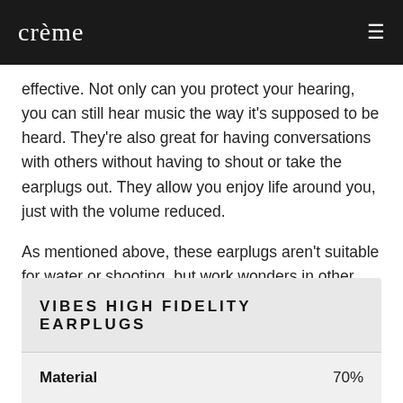crème
effective. Not only can you protect your hearing, you can still hear music the way it's supposed to be heard. They're also great for having conversations with others without having to shout or take the earplugs out. They allow you enjoy life around you, just with the volume reduced.
As mentioned above, these earplugs aren't suitable for water or shooting, but work wonders in other loud environments. A great product!
| VIBES HIGH FIDELITY EARPLUGS |  |
| --- | --- |
| Material | 70% |